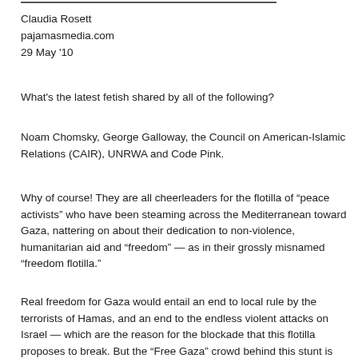Claudia Rosett
pajamasmedia.com
29 May '10
What's the latest fetish shared by all of the following?
Noam Chomsky, George Galloway, the Council on American-Islamic Relations (CAIR), UNRWA and Code Pink.
Why of course! They are all cheerleaders for the flotilla of “peace activists” who have been steaming across the Mediterranean toward Gaza, nattering on about their dedication to non-violence, humanitarian aid and “freedom” — as in their grossly misnamed “freedom flotilla.”
Real freedom for Gaza would entail an end to local rule by the terrorists of Hamas, and an end to the endless violent attacks on Israel — which are the reason for the blockade that this flotilla proposes to break. But the “Free Gaza” crowd behind this stunt is apparently not bothered in the least that Gaza operates as a terrorist enclave, or that Hamas receives